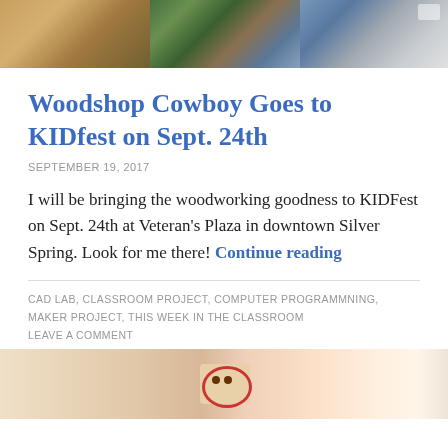[Figure (photo): Three-panel composite photo: wooden furniture on grass (left), bicycle outdoors (middle), person with bicycle (right)]
Woodshop Cowboy Goes to KIDfest on Sept. 24th
SEPTEMBER 19, 2017
I will be bringing the woodworking goodness to KIDFest on Sept. 24th at Veteran's Plaza in downtown Silver Spring. Look for me there! Continue reading
CAD LAB, CLASSROOM PROJECT, COMPUTER PROGRAMMNING, MAKER PROJECT, THIS WEEK IN THE CLASSROOM
LEAVE A COMMENT
[Figure (photo): Close-up photo of a wooden craft item with circular red design, appears to be a robot or owl face, partially visible at bottom of page]